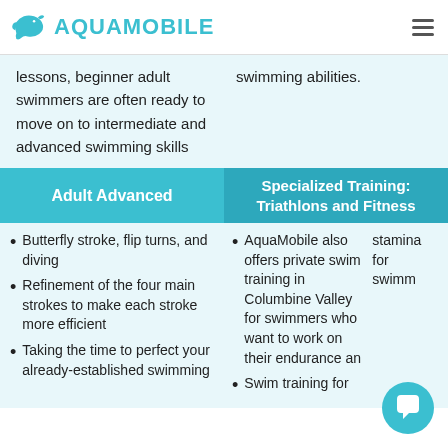AQUAMOBILE
lessons, beginner adult swimmers are often ready to move on to intermediate and advanced swimming skills
swimming abilities.
| Adult Advanced | Specialized Training: Triathlons and Fitness |
| --- | --- |
| • Butterfly stroke, flip turns, and diving
• Refinement of the four main strokes to make each stroke more efficient
• Taking the time to perfect your already-established swimming | • AquaMobile also offers private swim training in Columbine Valley for swimmers who want to work on their endurance and stamina for swimming
• Swim training for |